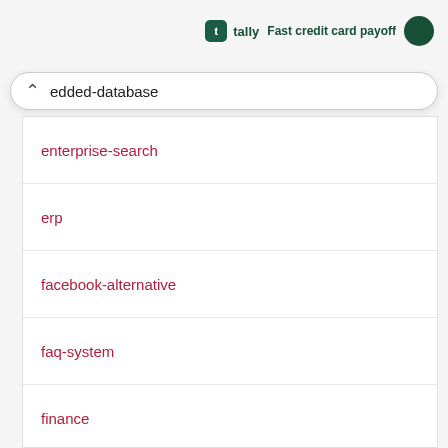tally Fast credit card payoff
edded-database
enterprise-search
erp
facebook-alternative
faq-system
finance
forum-software
ftp
full-text-search